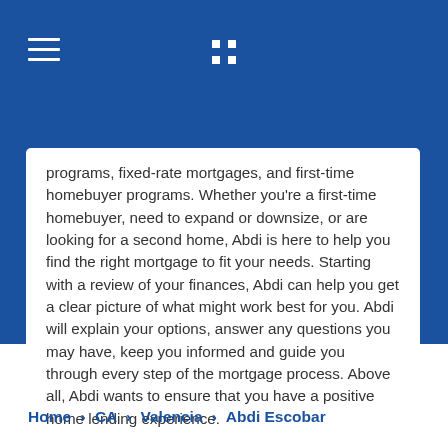Chase mortgage advisor page header with hamburger menu and Chase logo
programs, fixed-rate mortgages, and first-time homebuyer programs. Whether you're a first-time homebuyer, need to expand or downsize, or are looking for a second home, Abdi is here to help you find the right mortgage to fit your needs. Starting with a review of your finances, Abdi can help you get a clear picture of what might work best for you. Abdi will explain your options, answer any questions you may have, keep you informed and guide you through every step of the mortgage process. Above all, Abdi wants to ensure that you have a positive home lending experience.
Home > CA > Valencia > Abdi Escobar